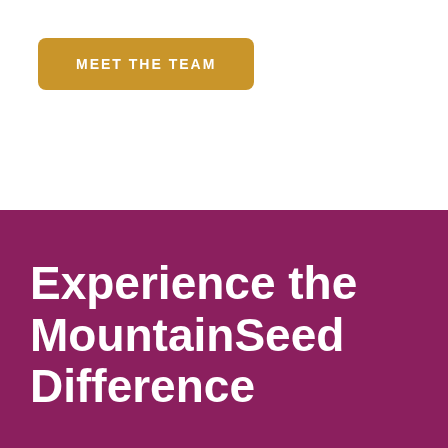MEET THE TEAM
Experience the MountainSeed Difference